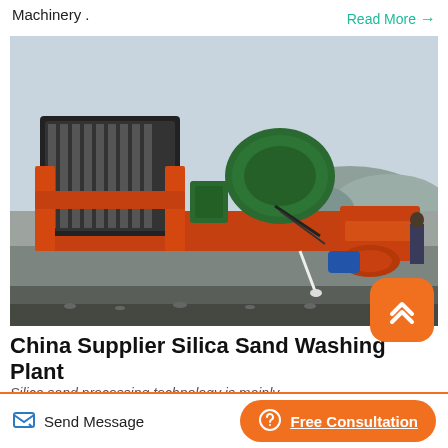Machinery .
Read More →
[Figure (photo): Industrial silica sand washing plant machinery with orange and green components, outdoors near a body of water with mountains in the background.]
China Supplier Silica Sand Washing Plant
Silica sand processing technology is mainly
Send Message
Free Consultation